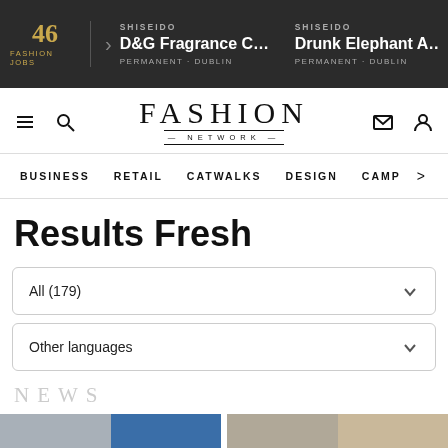46 FASHION JOBS | SHISEIDO D&G Fragrance Consul... PERMANENT - DUBLIN | SHISEIDO Drunk Elephant Ac... PERMANENT - DUBLIN
[Figure (logo): Fashion Network logo with navigation icons (hamburger menu, search, envelope, user)]
BUSINESS   RETAIL   CATWALKS   DESIGN   CAMP >
Results Fresh
All (179)
Other languages
NEWS